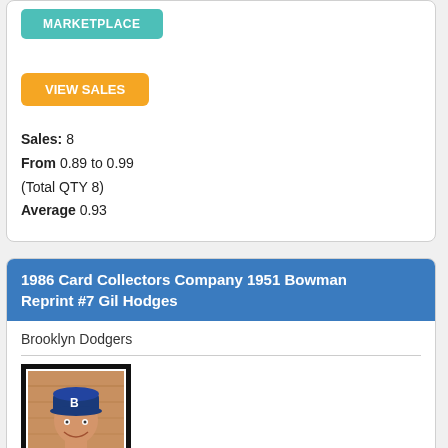MARKETPLACE
VIEW SALES
Sales: 8
From 0.89 to 0.99 (Total QTY 8)
Average 0.93
1986 Card Collectors Company 1951 Bowman Reprint #7 Gil Hodges
Brooklyn Dodgers
[Figure (photo): Baseball card image of Gil Hodges in Brooklyn Dodgers uniform, reprint card with dark border]